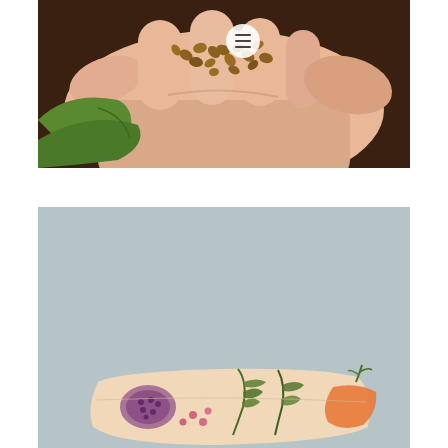[Figure (photo): A hand holding small brown seeds or nuts over a green leaf or plant material, with a dark brown wooden background. A circular menu icon button overlays the top center of the image.]
[Figure (photo): A light blue-grey textured wall background with a decorative fabric item (beeswax wrap or cloth bag) featuring a floral/botanical print with fruits and flowers in peach, green, purple and pink tones, visible in the lower portion of the image.]